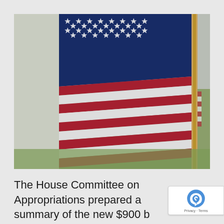[Figure (photo): Close-up photograph of American flags waving outdoors, with a foreground flag showing stars and stripes prominently, and a second flag blurred in the background against a light sky and green grass.]
The House Committee on Appropriations prepared a summary of the new $900 b COVID-19 Relief Provisions that can be found...